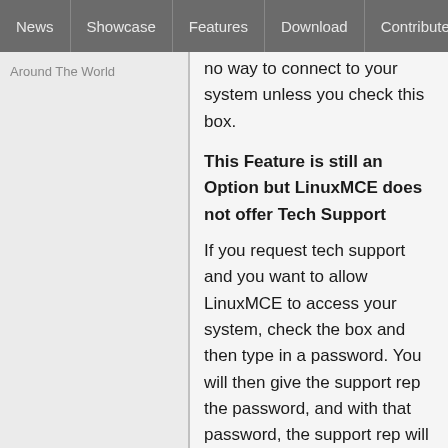News | Showcase | Features | Download | Contribute | Support
Around The World
no way to connect to your system unless you check this box.
This Feature is still an Option but LinuxMCE does not offer Tech Support
If you request tech support and you want to allow LinuxMCE to access your system, check the box and then type in a password. You will then give the support rep the password, and with that password, the support rep will be able to login to your system, inspect the logs, look at your configuration, and run diagnostics. As soon as you uncheck the box or change the password the connection your Core will immediately drop the connection and the support rep will not have access anymore. When you enable remote access, the connection the support rep uses to access your system is secure